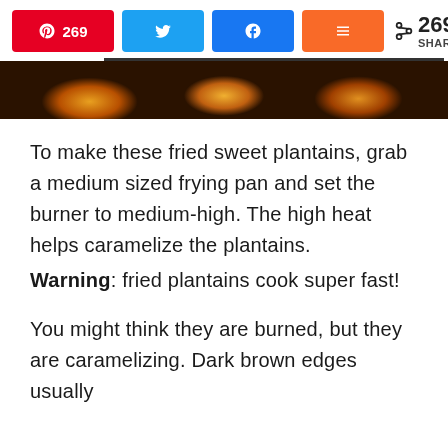[Figure (screenshot): Social share bar with Pinterest (269), Twitter, Facebook, and Mix buttons, plus a share count showing 269 SHARES]
[Figure (photo): Partial food photo showing fried sweet plantains, dark background, caramelized golden slices visible]
To make these fried sweet plantains, grab a medium sized frying pan and set the burner to medium-high. The high heat helps caramelize the plantains.
Warning: fried plantains cook super fast!
You might think they are burned, but they are caramelizing. Dark brown edges usually